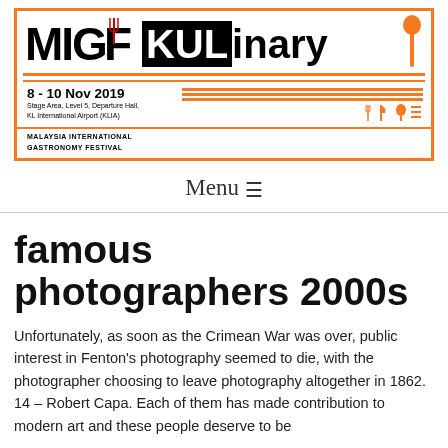[Figure (logo): MIGF KULinary event banner. Malaysia International Gastronomy Festival, 8-10 Nov 2019, Stage Area, Level 5, Departure Hall, KL International Airport (KLIA). Orange border, spoon and fork icons.]
Menu ≡
famous photographers 2000s
Unfortunately, as soon as the Crimean War was over, public interest in Fenton's photography seemed to die, with the photographer choosing to leave photography altogether in 1862. 14 – Robert Capa. Each of them has made contribution to modern art and these people deserve to be